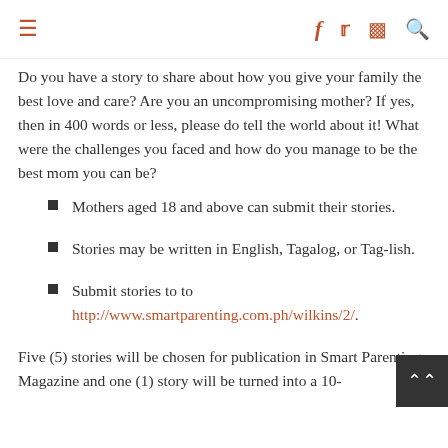≡  f  twitter  instagram  search
Do you have a story to share about how you give your family the best love and care? Are you an uncompromising mother? If yes, then in 400 words or less, please do tell the world about it! What were the challenges you faced and how do you manage to be the best mom you can be?
Mothers aged 18 and above can submit their stories.
Stories may be written in English, Tagalog, or Tag-lish.
Submit stories to to http://www.smartparenting.com.ph/wilkins/2/.
Five (5) stories will be chosen for publication in Smart Parenting Magazine and one (1) story will be turned into a 10-